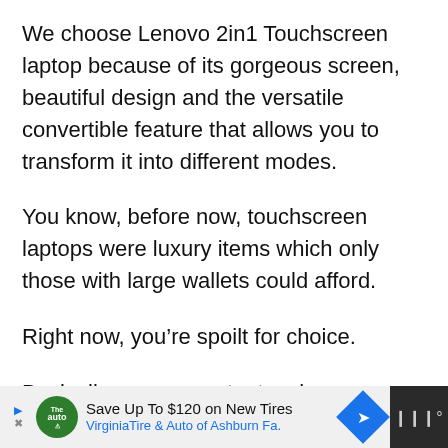We choose Lenovo 2in1 Touchscreen laptop because of its gorgeous screen, beautiful design and the versatile convertible feature that allows you to transform it into different modes.
You know, before now, touchscreen laptops were luxury items which only those with large wallets could afford.
Right now, you’re spoilt for choice.
Basically, you can get a touchscreen laptop at virtually any price point.
[Figure (other): Advertisement bar: Save Up To $120 on New Tires - VirginiaTire & Auto of Ashburn Fa.]